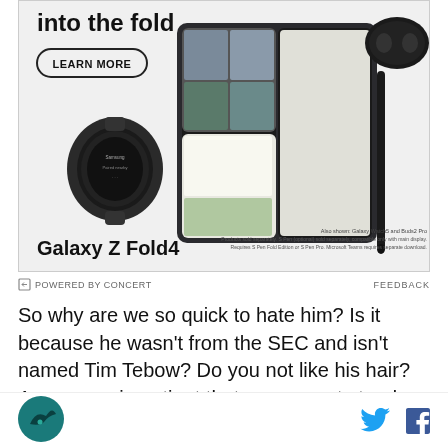[Figure (photo): Samsung Galaxy Z Fold4 advertisement banner showing the foldable phone with video call, Galaxy Watch5, Buds2 Pro, S Pen, and a 'LEARN MORE' button. Text: 'into the fold', 'Galaxy Z Fold4', 'LEARN MORE'.]
POWERED BY CONCERT
FEEDBACK
So why are we so quick to hate him? Is it because he wasn't from the SEC and isn't named Tim Tebow? Do you not like his hair? Are you so impatient that you cannot stand a rookie qb learning? Are you so bitter of a person you think every move by Gene Smith is a
[Figure (logo): Site logo — circular teal/dark icon with bird silhouette]